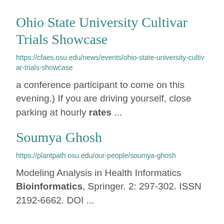Ohio State University Cultivar Trials Showcase
https://cfaes.osu.edu/news/events/ohio-state-university-cultivar-trials-showcase
a conference participant to come on this evening.) If you are driving yourself, close parking at hourly rates ...
Soumya Ghosh
https://plantpath.osu.edu/our-people/soumya-ghosh
Modeling Analysis in Health Informatics Bioinformatics, Springer. 2: 297-302. ISSN 2192-6662. DOI ...